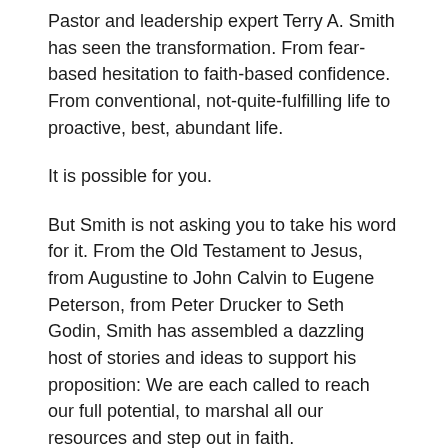Pastor and leadership expert Terry A. Smith has seen the transformation. From fear-based hesitation to faith-based confidence. From conventional, not-quite-fulfilling life to proactive, best, abundant life.
It is possible for you.
But Smith is not asking you to take his word for it. From the Old Testament to Jesus, from Augustine to John Calvin to Eugene Peterson, from Peter Drucker to Seth Godin, Smith has assembled a dazzling host of stories and ideas to support his proposition: We are each called to reach our full potential, to marshal all our resources and step out in faith.
We can Live Ten, and it will not just change us; it will change the world.